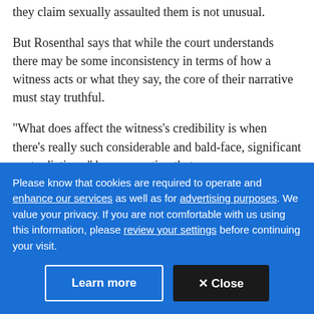they claim sexually assaulted them is not unusual.
But Rosenthal says that while the court understands there may be some inconsistency in terms of how a witness acts or what they say, the core of their narrative must stay truthful.
"What does affect the witness's credibility is when there's really such considerable and bald-face, significant contradictions," he says, noting that
Please know that cookies are required to operate and enhance our services as well as for advertising purposes. We value your privacy. If you are not comfortable with us using this information, please review your settings before continuing your visit.